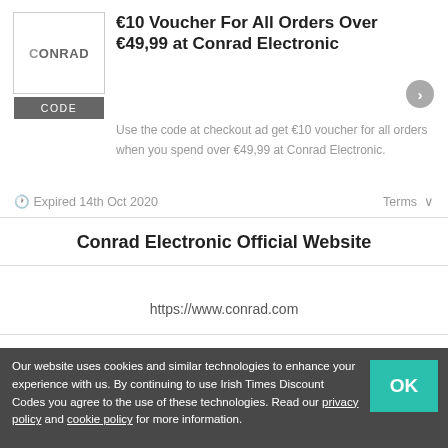[Figure (logo): Conrad Electronic logo with CODE button below]
€10 Voucher For All Orders Over €49,99 at Conrad Electronic
Use the code at checkout ad get €10 voucher for all orders when you spend over €49,99 at Conrad Electronic.
🕐 Expired 14th Oct 2020
Terms ∨
Conrad Electronic Official Website
https://www.conrad.com
About Conrad Electronic
Our website uses cookies and similar technologies to enhance your experience with us. By continuing to use Irish Times Discount Codes you agree to the use of these technologies. Read our privacy policy and cookie policy for more information.